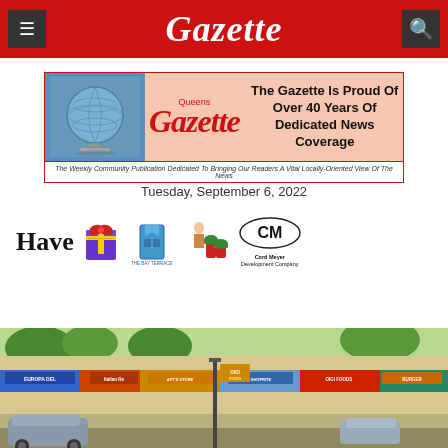Gazette
[Figure (illustration): Queens Gazette newspaper banner ad showing globe sculpture, Gazette masthead in red, tagline about 40 years of dedicated news coverage]
Tuesday, September 6, 2022
[Figure (infographic): Ad strip with text 'Have', a gift box, The Bay Terrace door logo, canned goods, and Cord Meyer Development Company logo]
[Figure (photo): Street-level photo of commercial strip with storefronts including Europa Deli, Italian restaurant, and other shops with street signs]